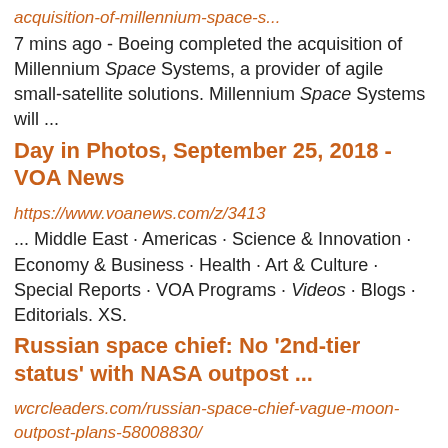acquisition-of-millennium-space-s...
7 mins ago - Boeing completed the acquisition of Millennium Space Systems, a provider of agile small-satellite solutions. Millennium Space Systems will ...
Day in Photos, September 25, 2018 - VOA News
https://www.voanews.com/z/3413
... Middle East · Americas · Science & Innovation · Economy & Business · Health · Art & Culture · Special Reports · VOA Programs · Videos · Blogs · Editorials. XS.
Russian space chief: No '2nd-tier status' with NASA outpost ...
wcrcleaders.com/russian-space-chief-vague-moon-outpost-plans-58008830/
1 day ago - Top News; Leadership; Videos ... Russia's space agency chief said Saturday that it wouldn't accept a second-tier role ... Roscosmos chief Dmitry Rogozin was quoted by Russian news ... that an air leak spotted at the International Space Station was a drill hole that happened during manufacturing or in orbit.